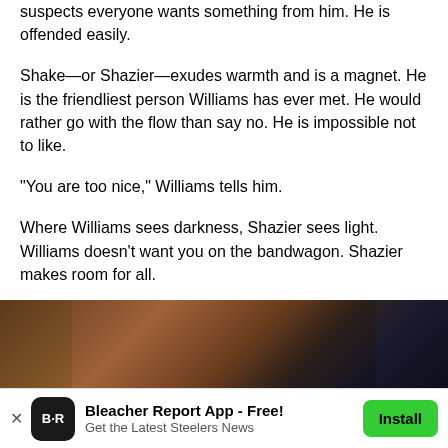suspects everyone wants something from him. He is offended easily.
Shake—or Shazier—exudes warmth and is a magnet. He is the friendliest person Williams has ever met. He would rather go with the flow than say no. He is impossible not to like.
"You are too nice," Williams tells him.
Where Williams sees darkness, Shazier sees light. Williams doesn't want you on the bandwagon. Shazier makes room for all.
[Figure (photo): A dark, reddish-brown photo, appears to be a close-up image, partially visible at the bottom of the page.]
Bleacher Report App - Free! Get the Latest Steelers News